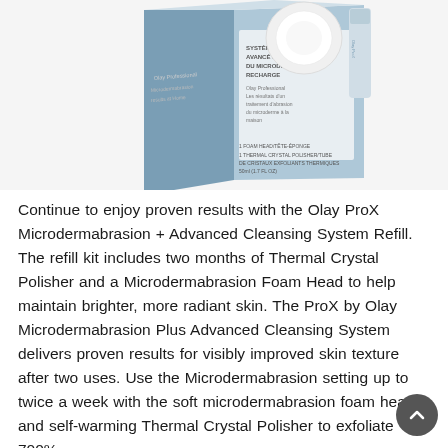[Figure (photo): Product box of Olay ProX Microdermabrasion + Advanced Cleansing System Refill, showing a blue and white box with a white foam/disc accessory beside it. Box text includes: SYSTEME DE NETTOYAGE AVANCÉ et D'ABRASION DU MICRODERME RECHARGE, 1 FOAM HEAD/TÊTE-ÉPONGE, 1 THERMAL CRYSTAL POLISHER/TUBE DE CRISTAUX EXFOLIANTS THERMIQUES, 50ml (1.7 FL OZ).]
Continue to enjoy proven results with the Olay ProX Microdermabrasion + Advanced Cleansing System Refill. The refill kit includes two months of Thermal Crystal Polisher and a Microdermabrasion Foam Head to help maintain brighter, more radiant skin. The ProX by Olay Microdermabrasion Plus Advanced Cleansing System delivers proven results for visibly improved skin texture after two uses. Use the Microdermabrasion setting up to twice a week with the soft microdermabrasion foam head and self-warming Thermal Crystal Polisher to exfoliate 700%